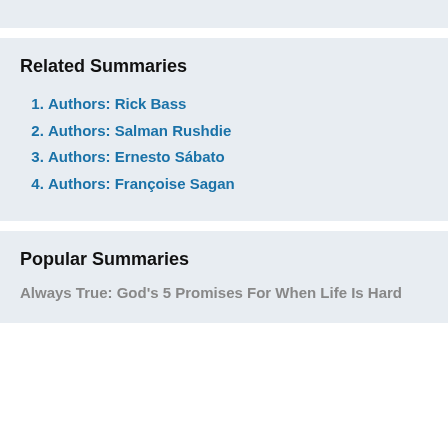Related Summaries
Authors: Rick Bass
Authors: Salman Rushdie
Authors: Ernesto Sábato
Authors: Françoise Sagan
Popular Summaries
Always True: God's 5 Promises For When Life Is Hard